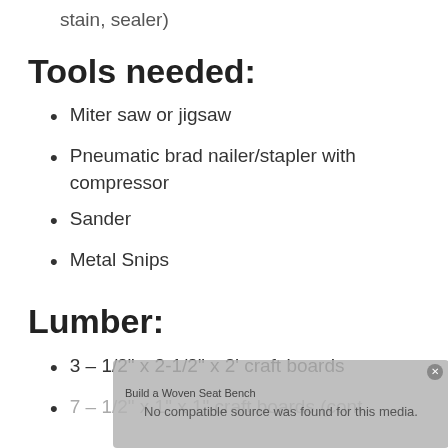stain, sealer)
Tools needed:
Miter saw or jigsaw
Pneumatic brad nailer/stapler with compressor
Sander
Metal Snips
Lumber:
3 – 1/2" x 2-1/2" x 2' craft boards
7 – 1/2" x 1" x 1" craft boards (cont.)
[Figure (screenshot): Video player overlay showing 'Build a Woven Seat Bench' title with message 'No compatible source was found for this media.']